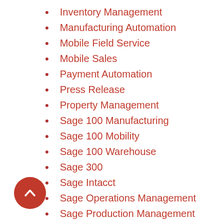Inventory Management
Manufacturing Automation
Mobile Field Service
Mobile Sales
Payment Automation
Press Release
Property Management
Sage 100 Manufacturing
Sage 100 Mobility
Sage 100 Warehouse
Sage 300
Sage Intacct
Sage Operations Management
Sage Production Management
Scanco Professional Services
Supply Chain Management